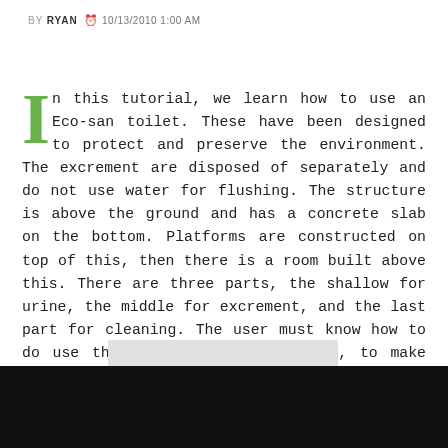BY RYAN  10/13/2010 1:00 AM
In this tutorial, we learn how to use an Eco-san toilet. These have been designed to protect and preserve the environment. The excrement are disposed of separately and do not use water for flushing. The structure is above the ground and has a concrete slab on the bottom. Platforms are constructed on top of this, then there is a room built above this. There are three parts, the shallow for urine, the middle for excrement, and the last part for cleaning. The user must know how to do use the toilet before using it, to make sure it continues to run properly.
[Figure (other): Gray placeholder rectangle below the article text]
[Figure (other): Black bar at the bottom of the page]